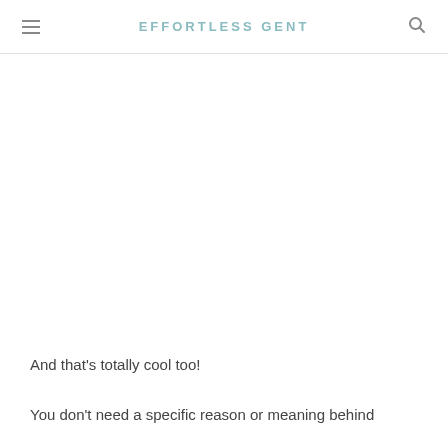EFFORTLESS GENT
And that's totally cool too!
You don't need a specific reason or meaning behind